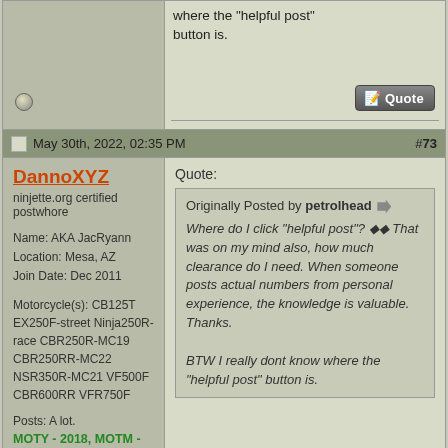where the "helpful post" button is.
May 30th, 2022, 02:35 PM  #73
DannoXYZ
ninjette.org certified postwhore
Name: AKA JacRyann
Location: Mesa, AZ
Join Date: Dec 2011
Motorcycle(s): CB125T EX250F-street Ninja250R-race CBR250R-MC19 CBR250RR-MC22 NSR350R-MC21 VF500F CBR600RR VFR750F
Posts: A lot.
MOTY - 2018, MOTM - Nov '17
Quote:
Originally Posted by petrolhead
Where do I click "helpful post"? That was on my mind also, how much clearance do I need. When someone posts actual numbers from personal experience, the knowledge is valuable. Thanks.

BTW I really dont know where the "helpful post" button is.